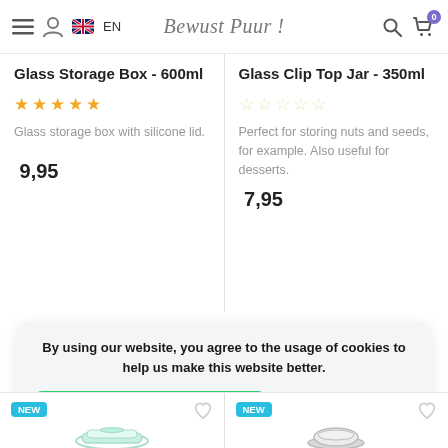Bewust Puur! — EN navigation header with search and cart
Glass Storage Box - 600ml
★★★★★ Glass storage box with silicone lid. 9,95
Glass Clip Top Jar - 350ml
☆☆☆☆☆ Perfect for storing nuts and seeds, for example. Also useful for desserts. 7,95
By using our website, you agree to the usage of cookies to help us make this website better. Hide this message  More on cookies »
NEW — product cards at the bottom with heart icons